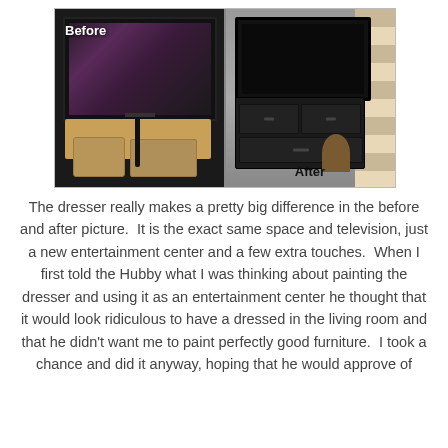[Figure (photo): Before and after comparison photos. Left side labeled 'Before' shows a TV on a wooden entertainment stand with baskets underneath. Right side labeled 'After' shows the same TV now sitting on a painted black dresser, with striped curtains in background and a wooden stool visible.]
The dresser really makes a pretty big difference in the before and after picture.  It is the exact same space and television, just a new entertainment center and a few extra touches.  When I first told the Hubby what I was thinking about painting the dresser and using it as an entertainment center he thought that it would look ridiculous to have a dressed in the living room and that he didn't want me to paint perfectly good furniture.  I took a chance and did it anyway, hoping that he would approve of